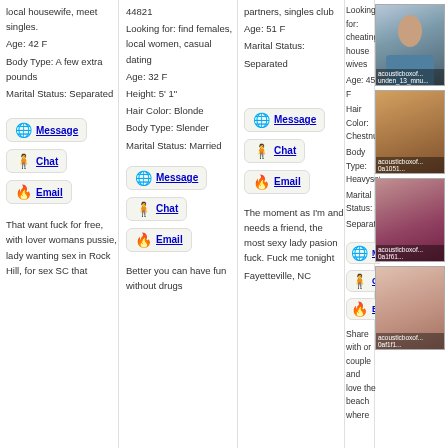local housewife, meet singles.
Age: 42 F
Body Type: A few extra pounds
Marital Status: Separated
[Figure (other): Message button with globe icon]
[Figure (other): Chat button with green person icon]
[Figure (other): Email button with fire icon]
That want fuck for free, with lover womans pussie, lady wanting sex in Rock Hill, for sex SC that
44821
Looking for: find females, local women, casual dating
Age: 32 F
Height: 5' 1"
Hair Color: Blonde
Body Type: Slender
Marital Status: Married
[Figure (other): Message button]
[Figure (other): Chat button]
[Figure (other): Email button]
Better you can have fun without drugs
partners, singles club
Age: 51 F
Marital Status: Separated
[Figure (other): Message button]
[Figure (other): Chat button]
[Figure (other): Email button]
The moment as I'm and needs a friend, the most sexy lady pasion fuck. Fuck me tonight
Fayetteville, NC
Looking for: cheating house wives
Age: 45 F
Hair Color: Chestnut
Body Type: Heavyset
Marital Status: Separated
[Figure (other): Message button]
[Figure (other): Chat button]
[Figure (other): Email button]
Share with or couple and love the beach where
[Figure (photo): Photo of woman with dark hair]
[Figure (photo): Photo of women together]
[Figure (photo): Photo of woman with red hair]
[Figure (photo): Photo of woman torso]